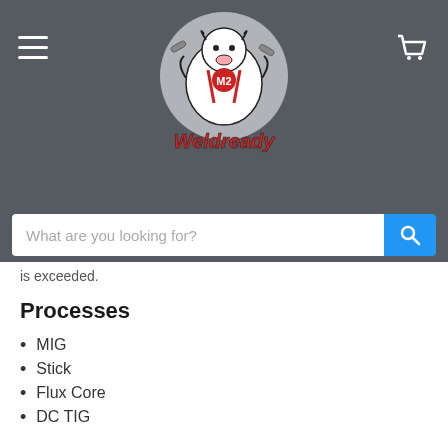[Figure (logo): Weldready logo: cartoon bull mascot with wrenches on a grey circle, with 'Weldready' text in red below]
is exceeded.
Processes
MIG
Stick
Flux Core
DC TIG
NOT INCLUDED
Power cord and Strain Relief